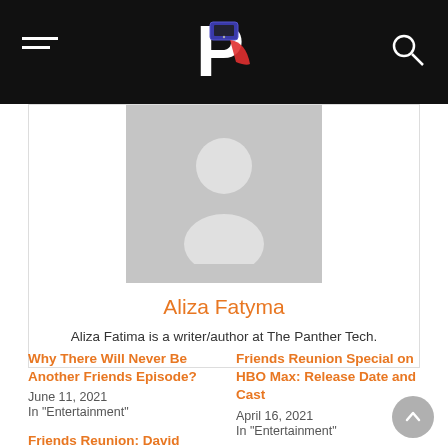The Panther Tech
[Figure (photo): Default avatar silhouette on gray background]
Aliza Fatyma
Aliza Fatima is a writer/author at The Panther Tech.
Why There Will Never Be Another Friends Episode?
June 11, 2021
In "Entertainment"
Friends Reunion Special on HBO Max: Release Date and Cast
April 16, 2021
In "Entertainment"
Friends Reunion: David Schwimmer Reveals When